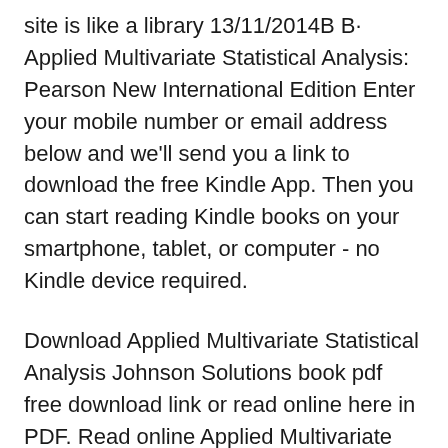site is like a library 13/11/2014B B· Applied Multivariate Statistical Analysis: Pearson New International Edition Enter your mobile number or email address below and we'll send you a link to download the free Kindle App. Then you can start reading Kindle books on your smartphone, tablet, or computer - no Kindle device required.
Download Applied Multivariate Statistical Analysis Johnson Solutions book pdf free download link or read online here in PDF. Read online Applied Multivariate Statistical Analysis Johnson Solutions book pdf free download link book now. All books are in clear copy here, and all files are secure so don't worry about it. This site is like a library This market leader offers a